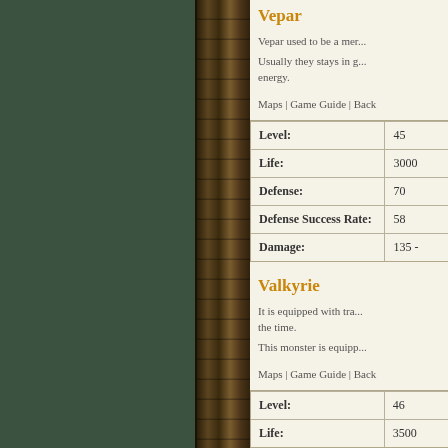Vepar
Vepar used to be a mer...
Usually they stays in g... energy.
Maps | Game Guide | Back
| Stat | Value |
| --- | --- |
| Level: | 45 |
| Life: | 3000 |
| Defense: | 70 |
| Defense Success Rate: | 58 |
| Damage: | 135 - |
Valkyrie
It is equipped with tra... the time.
This monster is equipp...
Maps | Game Guide | Back
| Stat | Value |
| --- | --- |
| Level: | 46 |
| Life: | 3500 |